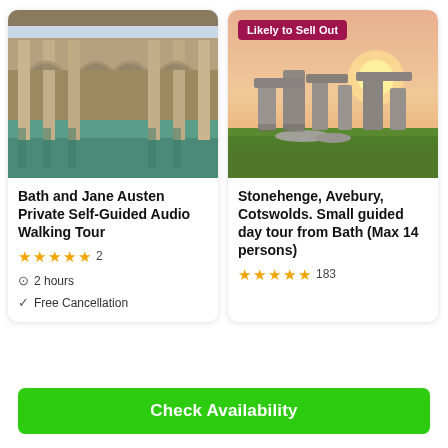[Figure (photo): Roman Baths architecture with green water reflections and columns]
Bath and Jane Austen Private Self-Guided Audio Walking Tour
★★★★★ 2
2 hours
Free Cancellation
[Figure (photo): Stonehenge at sunset with green grass and warm sky, with 'Likely to Sell Out' badge]
Stonehenge, Avebury, Cotswolds. Small guided day tour from Bath (Max 14 persons)
★★★★★ 183
Check Availability